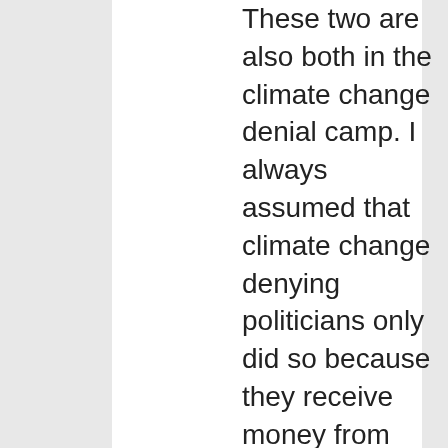These two are also both in the climate change denial camp. I always assumed that climate change denying politicians only did so because they receive money from climate change denying businesses, and/or pandering to the climate change denial
experience. I'm currently a Senior Engineer at A